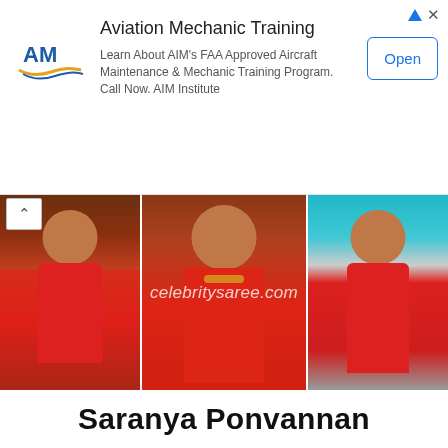[Figure (infographic): Advertisement banner for AIM Aviation Mechanic Training with logo, description text, and Open button]
[Figure (photo): Three photos of Saranya Ponvannan wearing a red saree with gold embroidered blouse, with watermark text 'celebritysaree.com']
Saranya Ponvannan